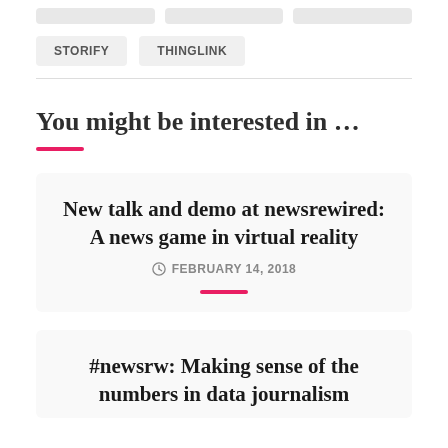STORIFY
THINGLINK
You might be interested in …
New talk and demo at newsrewired: A news game in virtual reality
FEBRUARY 14, 2018
#newsrw: Making sense of the numbers in data journalism